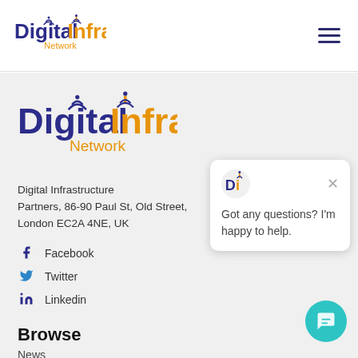[Figure (logo): Digital Infra Network logo in top navigation bar, small size]
[Figure (logo): Digital Infra Network logo, large version in gray main content area]
Digital Infrastructure Partners, 86-90 Paul St, Old Street, London EC2A 4NE, UK
Facebook
Twitter
Linkedin
Browse
News
[Figure (screenshot): Chat popup widget showing DI logo icon, close button (x), and message: Got any questions? I'm happy to help.]
[Figure (other): Teal chat bubble button in bottom right corner]